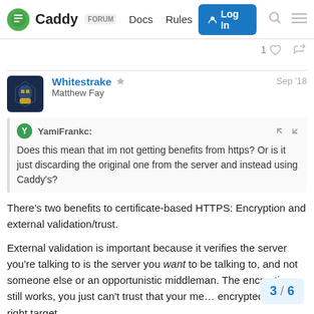Caddy FORUM  Docs  Rules  Log In
1 ♡ 🔗
Whitestrake 🛡 Matthew Fay  Sep '18
YamiFrankc: Does this mean that im not getting benefits from https? Or is it just discarding the original one from the server and instead using Caddy's?
There's two benefits to certificate-based HTTPS: Encryption and external validation/trust.
External validation is important because it verifies the server you're talking to is the server you want to be talking to, and not someone else or an opportunistic middleman. The encryption still works, you just can't trust that your me… encrypted to the right target.
3 / 6